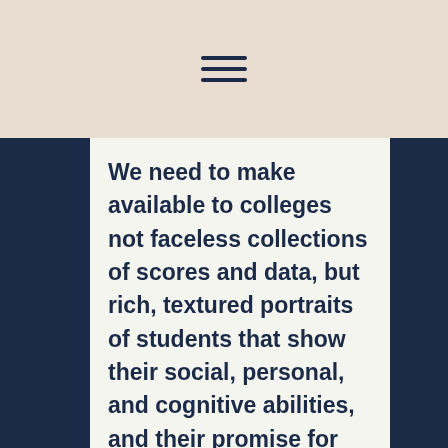[Figure (other): Hamburger menu icon with three horizontal lines on a beige/tan background header bar]
We need to make available to colleges not faceless collections of scores and data, but rich, textured portraits of students that show their social, personal, and cognitive abilities, and their promise for academic success. Ultimately, we need a better way to connect students with colleges that believe in them.
That's BetterRhetor's goal.